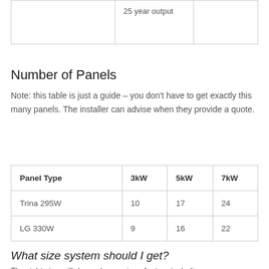|  | 25 year output |  |
| --- | --- | --- |
Number of Panels
Note: this table is just a guide – you don't have to get exactly this many panels. The installer can advise when they provide a quote.
| Panel Type | 3kW | 5kW | 7kW |
| --- | --- | --- | --- |
| Trina 295W | 10 | 17 | 24 |
| LG 330W | 9 | 16 | 22 |
What size system should I get?
The right size will depend on various factors including...